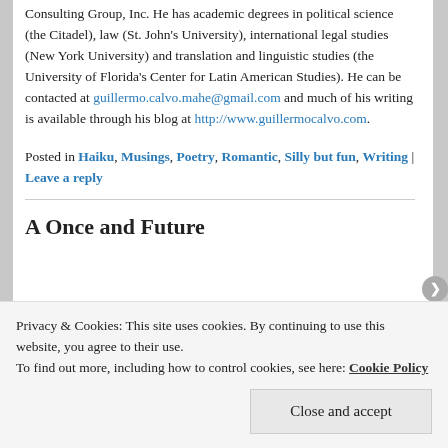Consulting Group, Inc. He has academic degrees in political science (the Citadel), law (St. John's University), international legal studies (New York University) and translation and linguistic studies (the University of Florida's Center for Latin American Studies). He can be contacted at guillermo.calvo.mahe@gmail.com and much of his writing is available through his blog at http://www.guillermocalvo.com.
Posted in Haiku, Musings, Poetry, Romantic, Silly but fun, Writing | Leave a reply
A Once and Future
Privacy & Cookies: This site uses cookies. By continuing to use this website, you agree to their use. To find out more, including how to control cookies, see here: Cookie Policy